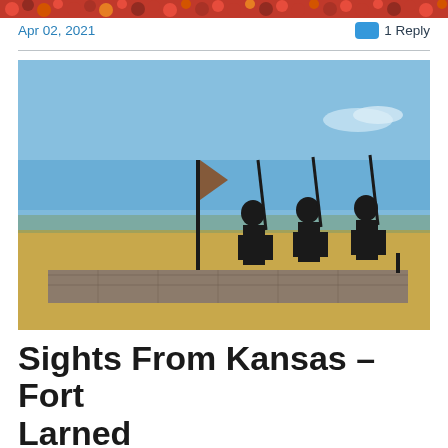[Figure (photo): Colorful flower banner strip at top of page]
Apr 02, 2021
1 Reply
[Figure (photo): Photograph of silhouette soldier statues marching with rifles over stone ruins at Fort Larned, Kansas; blue sky and flat grassland in background]
Sights From Kansas – Fort Larned